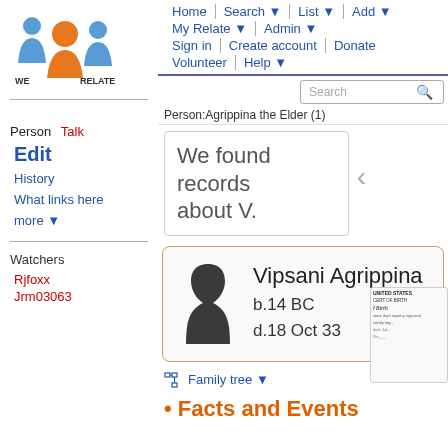[Figure (logo): WeRelate logo with blue and orange figures, text WE RELATE]
Person  Talk
Edit
History
What links here
more ▼
Watchers
Rjfoxx
Jrm03063
Home  Search ▼  List ▼  Add ▼  My Relate ▼  Admin ▼  Sign in  Create account  Donate  Volunteer  Help ▼
Person:Agrippina the Elder (1)
We found records about V.
Vipsani Agrippina
b.14 BC
d.18 Oct 33
Family tree ▼
• Facts and Events